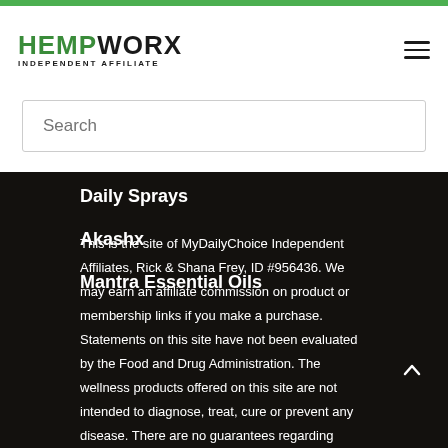HEMPWORX INDEPENDENT AFFILIATE
Search
Daily Sprays
Akashx
Mantra Essential Oils
This is the site of MyDailyChoice Independent Affiliates, Rick & Shana Frey, ID #956436. We may earn an affiliate commission on product or membership links if you make a purchase. Statements on this site have not been evaluated by the Food and Drug Administration. The wellness products offered on this site are not intended to diagnose, treat, cure or prevent any disease. There are no guarantees regarding